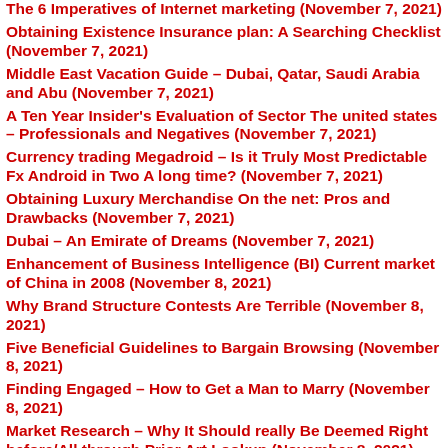The 6 Imperatives of Internet marketing (November 7, 2021)
Obtaining Existence Insurance plan: A Searching Checklist (November 7, 2021)
Middle East Vacation Guide – Dubai, Qatar, Saudi Arabia and Abu (November 7, 2021)
A Ten Year Insider's Evaluation of Sector The united states – Professionals and Negatives (November 7, 2021)
Currency trading Megadroid – Is it Truly Most Predictable Fx Android in Two A long time? (November 7, 2021)
Obtaining Luxury Merchandise On the net: Pros and Drawbacks (November 7, 2021)
Dubai – An Emirate of Dreams (November 7, 2021)
Enhancement of Business Intelligence (BI) Current market of China in 2008 (November 8, 2021)
Why Brand Structure Contests Are Terrible (November 8, 2021)
Five Beneficial Guidelines to Bargain Browsing (November 8, 2021)
Finding Engaged – How to Get a Man to Marry (November 8, 2021)
Market Research – Why It Should really Be Deemed Right before/All through Prior Art Lookup (November 8, 2021)
Fiverr $2,500 Acquired (November 8, 2021)
On the net Searching Generating Your Lifestyle Straightforward (November 8, 2021)
Diamond Appraisals – Worthless or Well worth It (November 8, 2021)
How To Survive And Thrive The COVID-19 Sector Losses (November